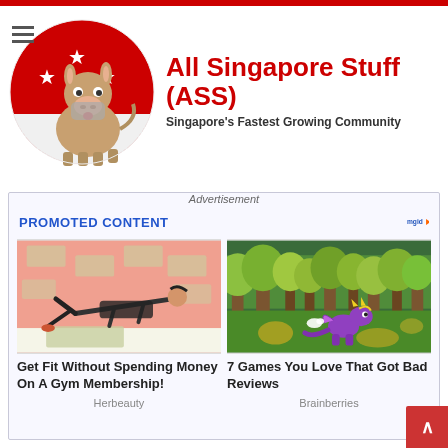[Figure (logo): All Singapore Stuff (ASS) website header logo featuring a donkey mascot on a Singapore flag circular background, with red title text and subtitle]
All Singapore Stuff (ASS)
Singapore's Fastest Growing Community
Advertisement
PROMOTED CONTENT
[Figure (photo): Woman doing push-ups on money bills with pink background]
Get Fit Without Spending Money On A Gym Membership!
Herbeauty
[Figure (screenshot): Video game screenshot showing purple dragon character (Spyro) in a green meadow with trees]
7 Games You Love That Got Bad Reviews
Brainberries